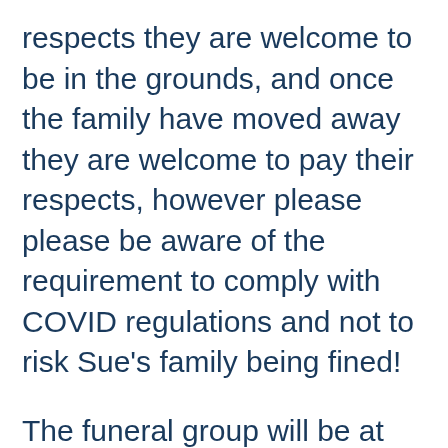respects they are welcome to be in the grounds, and once the family have moved away they are welcome to pay their respects, however please please be aware of the requirement to comply with COVID regulations and not to risk Sue's family being fined!

The funeral group will be at the maximum size, and all other groups of people must not be greater than 6, so please do not